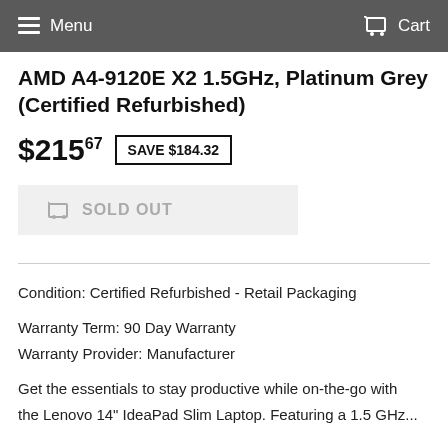Menu   Cart
AMD A4-9120E X2 1.5GHz, Platinum Grey (Certified Refurbished)
$215.67  SAVE $184.32
SOLD OUT
Condition: Certified Refurbished - Retail Packaging
Warranty Term: 90 Day Warranty
Warranty Provider: Manufacturer
Get the essentials to stay productive while on-the-go with the Lenovo 14" IdeaPad Slim Laptop. Featuring a 1.5 GHz...